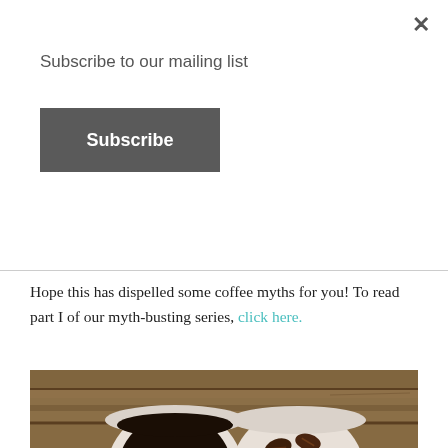Subscribe to our mailing list
Subscribe
Hope this has dispelled some coffee myths for you! To read part I of our myth-busting series, click here.
[Figure (photo): Overhead photo of two white ceramic mugs on a rustic wooden table — one filled with black coffee and one filled with roasted coffee beans.]